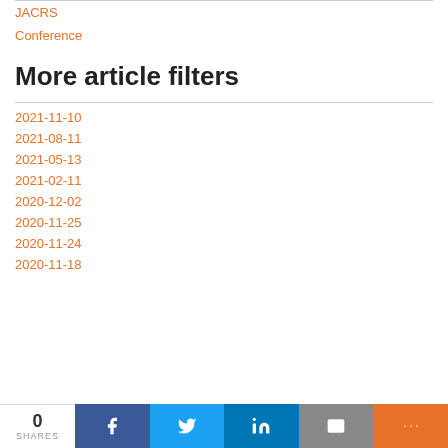JACRS
Conference
More article filters
2021-11-10
2021-08-11
2021-05-13
2021-02-11
2020-12-02
2020-11-25
2020-11-24
2020-11-18
0 SHARES  f  Twitter  in  Email  +